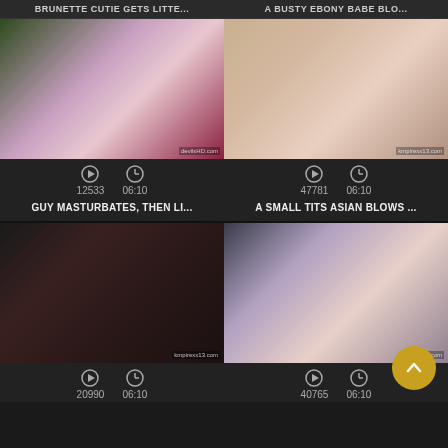BRUNETTE CUTIE GETS LITTE...
A BUSTY EBONY BABE BLO...
[Figure (photo): Blonde woman in red lingerie giving middle finger, indoor setting with plants]
[Figure (photo): Asian woman on couch with man, intimate scene]
12533   06:10
47781   06:10
GUY MASTURBATES, THEN LI...
A SMALL TITS ASIAN BLOWS ...
[Figure (photo): Dark-haired woman in red collar, intimate scene]
[Figure (photo): Tattooed woman on couch, intimate scene]
20990   06:10
40765   06:10